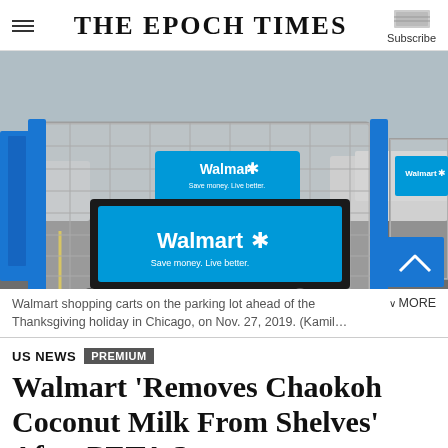THE EPOCH TIMES
[Figure (photo): Walmart shopping carts lined up in a parking lot, showing blue and metal wire carts with Walmart branding 'Save money. Live better.' A scroll-to-top button is visible in the lower right corner.]
Walmart shopping carts on the parking lot ahead of the Thanksgiving holiday in Chicago, on Nov. 27, 2019. (Kamil... MORE
US NEWS  PREMIUM
Walmart 'Removes Chaokoh Coconut Milk From Shelves' After PETA Says